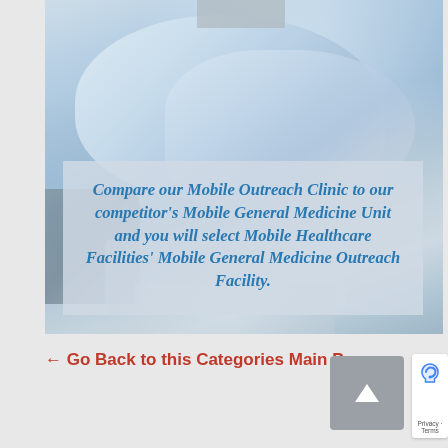[Figure (photo): Hospital bed with light blue bedding/linens, blurred medical environment background. A blurred logo/image appears at the top center of the photo. A semi-transparent text overlay box appears over the lower portion of the image.]
Compare our Mobile Outreach Clinic to our competitor's Mobile General Medicine Unit and you will select Mobile Healthcare Facilities' Mobile General Medicine Outreach Facility.
<— Go Back to this Categories Main Page